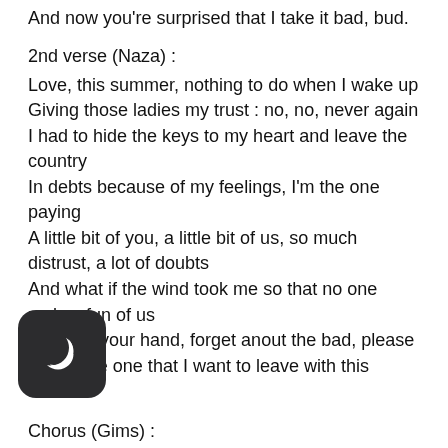And now you're surprised that I take it bad, bud.
2nd verse (Naza) :
Love, this summer, nothing to do when I wake up
Giving those ladies my trust : no, no, never again
I had to hide the keys to my heart and leave the country
In debts because of my feelings, I'm the one paying
A little bit of you, a little bit of us, so much distrust, a lot of doubts
And what if the wind took me so that no one makes fun of us
Give me your hand, forget anout the bad, please
You're the one that I want to leave with this summer
Chorus (Gims) :